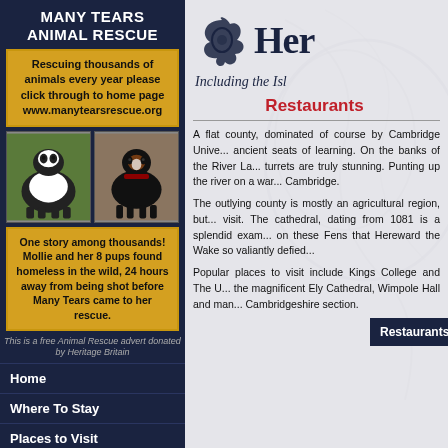MANY TEARS ANIMAL RESCUE
Rescuing thousands of animals every year please click through to home page www.manytearsrescue.org
[Figure (photo): Two dogs: a black and white Border Collie on the left and a black and tan dog on the right]
One story among thousands! Mollie and her 8 pups found homeless in the wild, 24 hours away from being shot before Many Tears came to her rescue.
This is a free Animal Rescue advert donated by Heritage Britain
Home
Where To Stay
Places to Visit
Things to Do
Tourism & Travel
Ancestry
Books
Contact
[Figure (logo): Heritage Britain logo with decorative swirl and 'Her' text visible]
Including the Is
Restaurants
A flat county, dominated of course by Cambridge Unive... ancient seats of learning. On the banks of the River La... turrets are truly stunning. Punting up the river on a war... Cambridge.
The outlying county is mostly an agricultural region, but... visit. The cathedral, dating from 1081 is a splendid examp... on these Fens that Hereward the Wake so valiantly defied...
Popular places to visit include Kings College and The U... the magnificent Ely Cathedral, Wimpole Hall and man... Cambridgeshire section.
Restaurants in Cambridgeshire